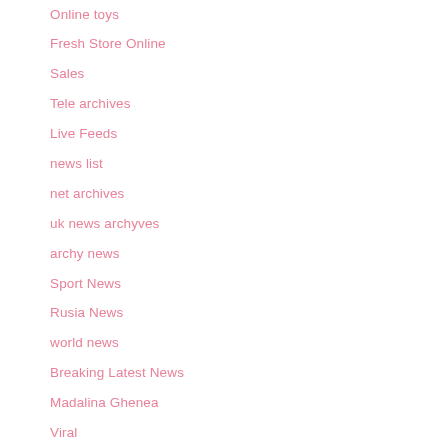Online toys
Fresh Store Online
Sales
Tele archives
Live Feeds
news list
net archives
uk news archyves
archy news
Sport News
Rusia News
world news
Breaking Latest News
Madalina Ghenea
Viral
Time